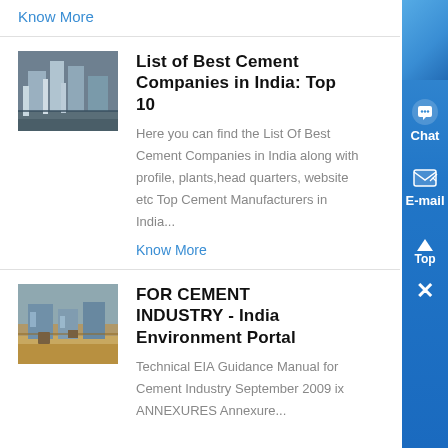Know More
List of Best Cement Companies in India: Top 10
Here you can find the List Of Best Cement Companies in India along with profile, plants,head quarters, website etc Top Cement Manufacturers in India...
Know More
FOR CEMENT INDUSTRY - India Environment Portal
Technical EIA Guidance Manual for Cement Industry September 2009 ix ANNEXURES Annexure...